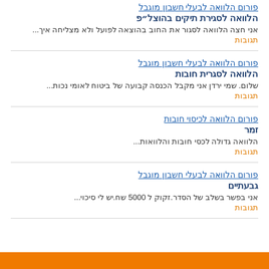פורום הלוואה לבעלי חשבון מוגבל - הלוואה לסגירת תיקים בהוצל״פ
אני חצה הלוואה לסגור את החוב בהוצאה לפועל ולא מצליחה איך...
תגובות
פורום הלוואה לבעלי חשבון מוגבל - הלוואה לסגרית חובות
שלום. שמי ירדן אני מקבל הכנסה קבועה של ביטוח לאומי נכות...
תגובות
פורום הלוואה לכיסוי חובות - זמר
הלוואה גדולה לכסי חובות והלוואות...
תגובות
פורום הלוואה לבעלי חשבון מוגבל - גבעתיים
אני בפשר בשלב של הסדר.זקוק ל 5000 שח.יש לי סיכוי...
תגובות